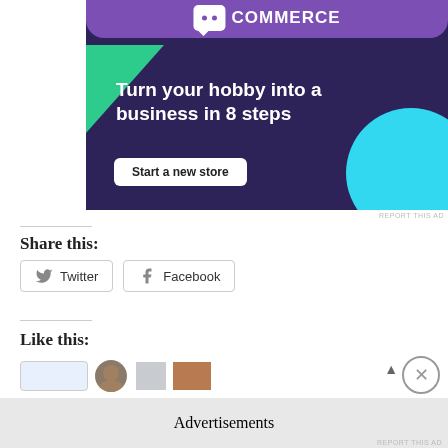[Figure (illustration): WooCommerce advertisement banner with dark purple background, green triangle shape, cyan circle, WooCommerce logo at top, headline 'Turn your hobby into a business in 8 steps', and a 'Start a new store' button.]
REPORT THIS AD
Share this:
Twitter
Facebook
Like this:
Advertisements
REPORT THIS AD